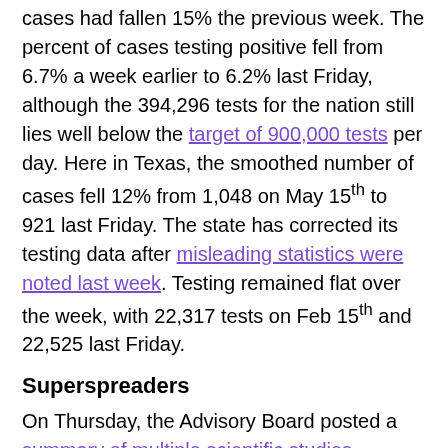cases had fallen 15% the previous week. The percent of cases testing positive fell from 6.7% a week earlier to 6.2% last Friday, although the 394,296 tests for the nation still lies well below the target of 900,000 tests per day. Here in Texas, the smoothed number of cases fell 12% from 1,048 on May 15th to 921 last Friday. The state has corrected its testing data after misleading statistics were noted last week. Testing remained flat over the week, with 22,317 tests on Feb 15th and 22,525 last Friday.
Superspreaders
On Thursday, the Advisory Board posted a summary of multiple scientific studies describing variations in infectiousness among COVID-19 patients. One study estimates that about 10% of infected individuals lead to 80% of the spread. This finding supports